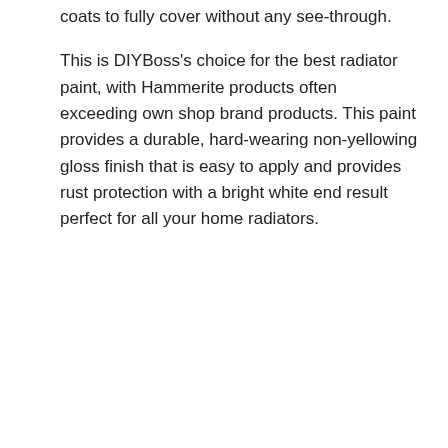coats to fully cover without any see-through.
This is DIYBoss's choice for the best radiator paint, with Hammerite products often exceeding own shop brand products. This paint provides a durable, hard-wearing non-yellowing gloss finish that is easy to apply and provides rust protection with a bright white end result perfect for all your home radiators.